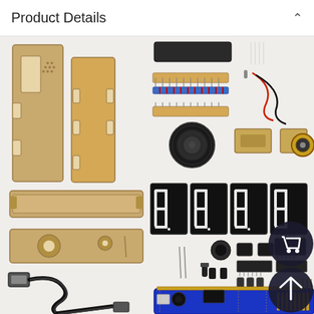Product Details
[Figure (photo): Exploded view of a DIY digital clock kit showing all components: laser-cut acrylic/MDF case panels, resistors, capacitors, speaker, 7-segment LED display modules, microcontroller IC chips, IC sockets, push buttons, buzzer, battery holder, USB cable, and blue Arduino-style PCB mainboard with various electronic components soldered on it.]